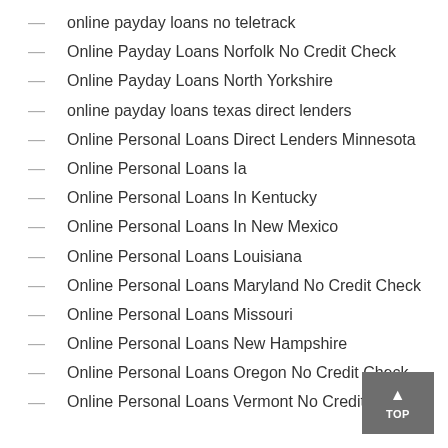online payday loans no teletrack
Online Payday Loans Norfolk No Credit Check
Online Payday Loans North Yorkshire
online payday loans texas direct lenders
Online Personal Loans Direct Lenders Minnesota
Online Personal Loans Ia
Online Personal Loans In Kentucky
Online Personal Loans In New Mexico
Online Personal Loans Louisiana
Online Personal Loans Maryland No Credit Check
Online Personal Loans Missouri
Online Personal Loans New Hampshire
Online Personal Loans Oregon No Credit Check
Online Personal Loans Vermont No Credit Check